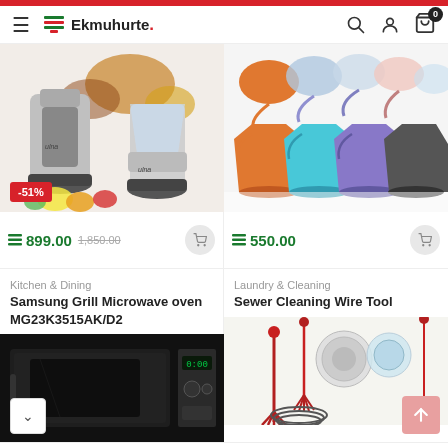Ekmuhurte
[Figure (photo): Kitchen grinder/blender combo with spices and fruits, -51% discount badge, price 899.00 old 1,850.00]
[Figure (photo): Colorful collapsible silicone cups with lids, price 550.00]
Kitchen & Dining
Samsung Grill Microwave oven MG23K3515AK/D2
Laundry & Cleaning
Sewer Cleaning Wire Tool
[Figure (photo): Samsung microwave oven black]
[Figure (photo): Sewer cleaning wire tool set with red handles]